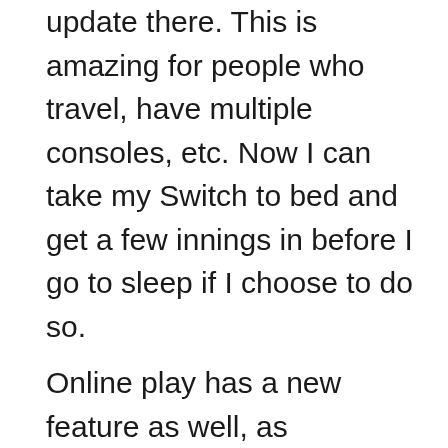update there. This is amazing for people who travel, have multiple consoles, etc. Now I can take my Switch to bed and get a few innings in before I go to sleep if I choose to do so.
Online play has a new feature as well, as